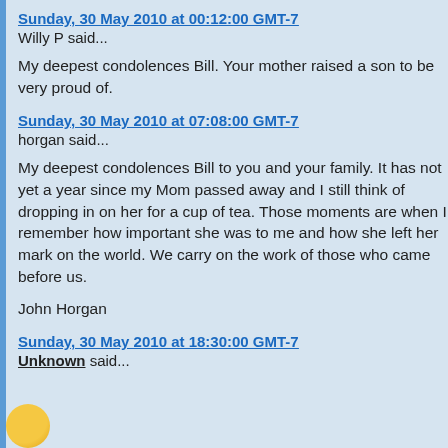Sunday, 30 May 2010 at 00:12:00 GMT-7
Willy P said...

My deepest condolences Bill. Your mother raised a son to be very proud of.
Sunday, 30 May 2010 at 07:08:00 GMT-7
horgan said...

My deepest condolences Bill to you and your family. It has not yet a year since my Mom passed away and I still think of dropping in on her for a cup of tea. Those moments are when I remember how important she was to me and how she left her mark on the world. We carry on the work of those who came before us.

John Horgan
Sunday, 30 May 2010 at 18:30:00 GMT-7
Unknown said...